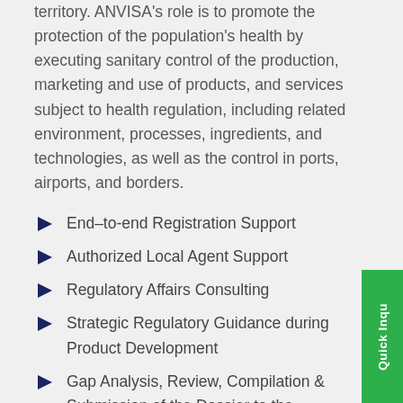territory. ANVISA's role is to promote the protection of the population's health by executing sanitary control of the production, marketing and use of products, and services subject to health regulation, including related environment, processes, ingredients, and technologies, as well as the control in ports, airports, and borders.
End–to-end Registration Support
Authorized Local Agent Support
Regulatory Affairs Consulting
Strategic Regulatory Guidance during Product Development
Gap Analysis, Review, Compilation & Submission of the Dossier to the ANVISA
Interacting with the ANVISA